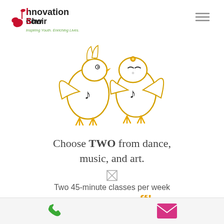[Figure (logo): Innovation Show Choir logo with musical note and bird graphic, tagline 'Inspiring Youth. Enriching Lives.']
[Figure (illustration): Two cartoon birds/ducks with musical notes on their bodies, standing and appearing to dance or interact]
Choose TWO from dance, music, and art.
[Figure (other): Small decorative symbol/icon]
Two 45-minute classes per week
[Figure (other): 30% off! promotional badge in orange/gold text]
Take 2
[Figure (other): Bottom contact bar with phone icon (green) and email icon (pink/magenta)]